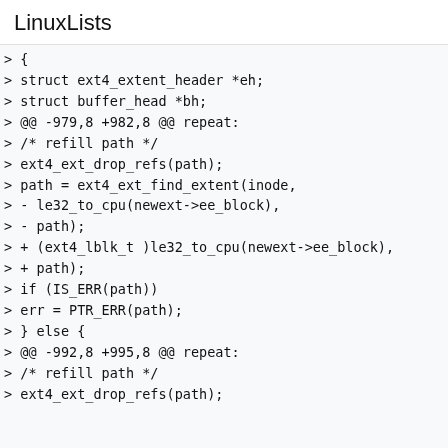LinuxLists
> {
> struct ext4_extent_header *eh;
> struct buffer_head *bh;
> @@ -979,8 +982,8 @@ repeat:
> /* refill path */
> ext4_ext_drop_refs(path);
> path = ext4_ext_find_extent(inode,
> - le32_to_cpu(newext->ee_block),
> - path);
> + (ext4_lblk_t )le32_to_cpu(newext->ee_block),
> + path);
> if (IS_ERR(path))
> err = PTR_ERR(path);
> } else {
> @@ -992,8 +995,8 @@ repeat:
> /* refill path */
> ext4_ext_drop_refs(path);